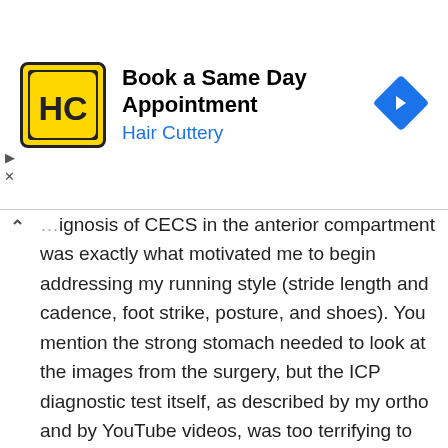[Figure (screenshot): Advertisement banner for Hair Cuttery: 'Book a Same Day Appointment' with logo (HC in yellow circle) and a blue navigation arrow icon on the right. Ad controls (play/close) on the left.]
…ignosis of CECS in the anterior compartment was exactly what motivated me to begin addressing my running style (stride length and cadence, foot strike, posture, and shoes). You mention the strong stomach needed to look at the images from the surgery, but the ICP diagnostic test itself, as described by my ortho and by YouTube videos, was too terrifying to submit to. A friend recommended Born To Run, and I was back to running 10+ miles within a few months (I was limited to about 2 with CECS symptoms). I certainly wouldn't wish CECS on anyone, but the sensation of losing feeling and circulation to the part of my foot that is controlled by those muscles in my anterior compartment actually helped train me to run more gently and land on my mid/forefoot. When I…